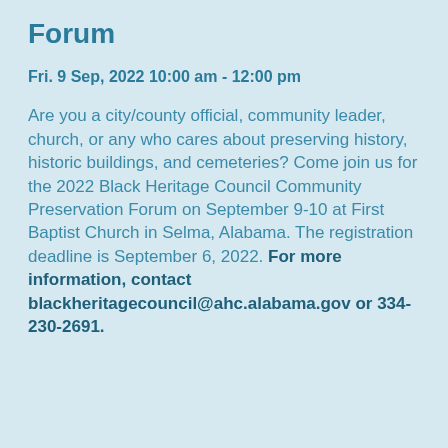Forum
Fri. 9 Sep, 2022 10:00 am - 12:00 pm
Are you a city/county official, community leader, church, or any who cares about preserving history, historic buildings, and cemeteries? Come join us for the 2022 Black Heritage Council Community Preservation Forum on September 9-10 at First Baptist Church in Selma, Alabama. The registration deadline is September 6, 2022. For more information, contact blackheritagecouncil@ahc.alabama.gov or 334-230-2691.